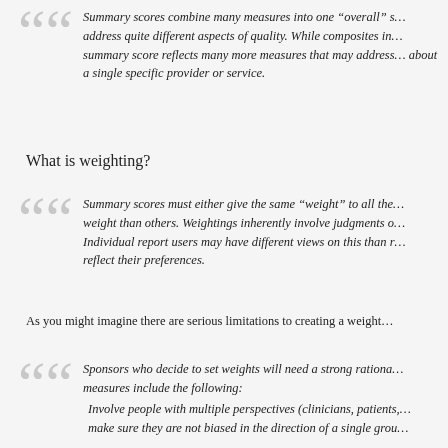Summary scores combine many measures into one "overall" s... address quite different aspects of quality. While composites in... summary score reflects many more measures that may address... about a single specific provider or service.
What is weighting?
Summary scores must either give the same "weight" to all the... weight than others. Weightings inherently involve judgments o... Individual report users may have different views on this than r... reflect their preferences.
As you might imagine there are serious limitations to creating a weight...
Sponsors who decide to set weights will need a strong rationa... measures include the following:
Involve people with multiple perspectives (clinicians, patients,... make sure they are not biased in the direction of a single grou...